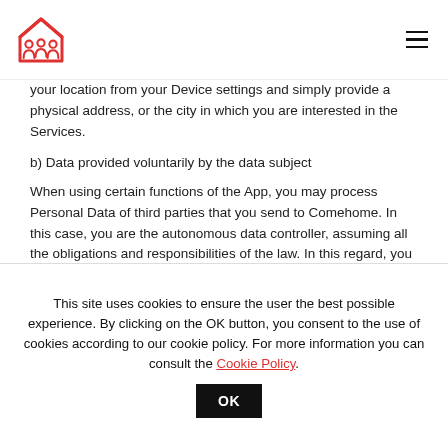Comehome logo and navigation menu
your location from your Device settings and simply provide a physical address, or the city in which you are interested in the Services.
b) Data provided voluntarily by the data subject
When using certain functions of the App, you may process Personal Data of third parties that you send to Comehome. In this case, you are the autonomous data controller, assuming all the obligations and responsibilities of the law. In this regard, you hereby grant Comehome the widest possible indemnity with respect to any dispute, claim, request for compensation
This site uses cookies to ensure the user the best possible experience. By clicking on the OK button, you consent to the use of cookies according to our cookie policy. For more information you can consult the Cookie Policy.